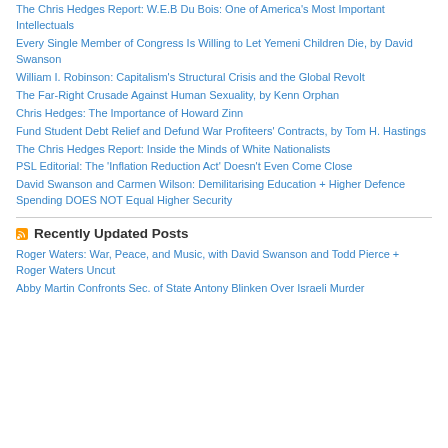The Chris Hedges Report: W.E.B Du Bois: One of America's Most Important Intellectuals
Every Single Member of Congress Is Willing to Let Yemeni Children Die, by David Swanson
William I. Robinson: Capitalism's Structural Crisis and the Global Revolt
The Far-Right Crusade Against Human Sexuality, by Kenn Orphan
Chris Hedges: The Importance of Howard Zinn
Fund Student Debt Relief and Defund War Profiteers' Contracts, by Tom H. Hastings
The Chris Hedges Report: Inside the Minds of White Nationalists
PSL Editorial: The 'Inflation Reduction Act' Doesn't Even Come Close
David Swanson and Carmen Wilson: Demilitarising Education + Higher Defence Spending DOES NOT Equal Higher Security
Recently Updated Posts
Roger Waters: War, Peace, and Music, with David Swanson and Todd Pierce + Roger Waters Uncut
Abby Martin Confronts Sec. of State Antony Blinken Over Israeli Murder of Shireen Abu Akleh